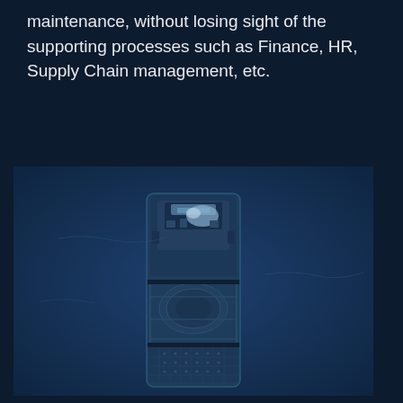maintenance, without losing sight of the supporting processes such as Finance, HR, Supply Chain management, etc.
[Figure (photo): Aerial top-down view of a large ship or offshore vessel on dark blue ocean water, rendered in a blue-tinted monochromatic style]